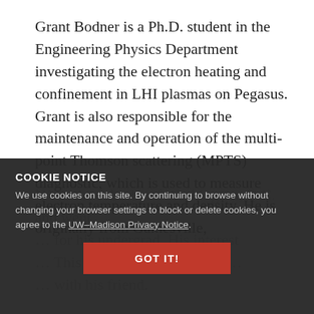Grant Bodner is a Ph.D. student in the Engineering Physics Department investigating the electron heating and confinement in LHI plasmas on Pegasus. Grant is also responsible for the maintenance and operation of the multi-point Thomson scattering (MPTS) diagnostic, which is used to measure electron temperature and density. He is originally from Gainesville,
VA in the suburbs of Washington, D.C. and went ... for his undergrad. His interest ... This passion for challenges ... with his friend.
COOKIE NOTICE
We use cookies on this site. By continuing to browse without changing your browser settings to block or delete cookies, you agree to the UW–Madison Privacy Notice.